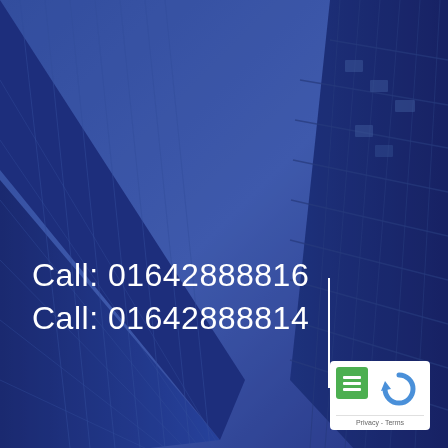[Figure (photo): Upward-looking view of two tall glass office buildings against a blue sky, tinted with a dark blue overlay. Left building is a grid-windowed skyscraper leaning left; right building is a modern glass tower leaning right.]
Call: 01642888816
Call: 01642888814
[Figure (other): Google reCAPTCHA badge with green checklist icon on top-left and circular arrow (reCAPTCHA) logo. Footer reads 'Privacy - Terms'.]